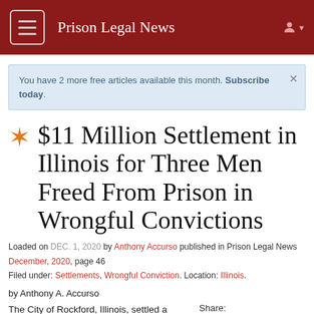Prison Legal News
You have 2 more free articles available this month. Subscribe today.
✱ $11 Million Settlement in Illinois for Three Men Freed From Prison in Wrongful Convictions
Loaded on DEC. 1, 2020 by Anthony Accurso published in Prison Legal News December, 2020, page 46
Filed under: Settlements, Wrongful Conviction. Location: Illinois.
by Anthony A. Accurso
The City of Rockford, Illinois, settled a lawsuit on March 2, 2020 brought by three men who were